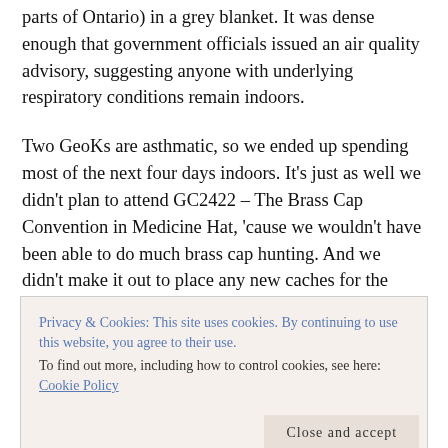parts of Ontario) in a grey blanket. It was dense enough that government officials issued an air quality advisory, suggesting anyone with underlying respiratory conditions remain indoors.
Two GeoKs are asthmatic, so we ended up spending most of the next four days indoors. It's just as well we didn't plan to attend GC2422 – The Brass Cap Convention in Medicine Hat, 'cause we wouldn't have been able to do much brass cap hunting. And we didn't make it out to place any new caches for the upcoming Calgary Cache and Release Summer 2010 event, either
Privacy & Cookies: This site uses cookies. By continuing to use this website, you agree to their use.
To find out more, including how to control cookies, see here: Cookie Policy
[Figure (photo): Partial view of a photo strip at the bottom, warm orange/brown tones]